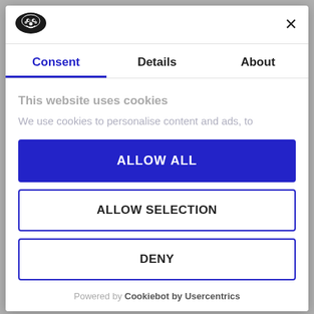[Figure (logo): Cookiebot shield/cookie logo in dark oval]
Consent | Details | About
This website uses cookies
We use cookies to personalise content and ads, to
ALLOW ALL
ALLOW SELECTION
DENY
Powered by Cookiebot by Usercentrics